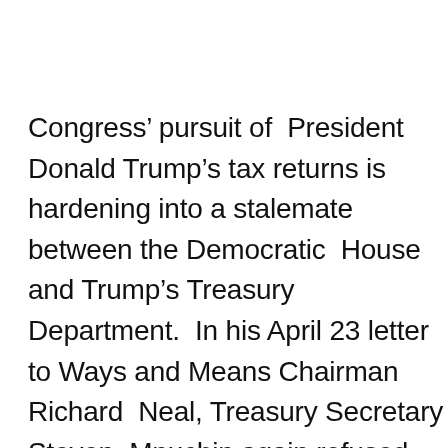Congress' pursuit of President Donald Trump's tax returns is hardening into a stalemate between the Democratic House and Trump's Treasury Department. In his April 23 letter to Ways and Means Chairman Richard Neal, Treasury Secretary Steven Mnuchin again refused Neal's request that the IRS turn over several years of Trump's personal and business tax returns. Neal, a Democrat from Massachusetts, has said the purpose of his request is congressional oversight. Mnuchin dismisses this explanation as contrived